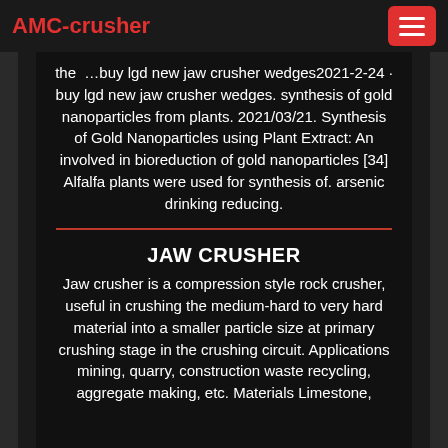AMC-crusher
the …buy lgd new jaw crusher wedges2021-2-24 · buy lgd new jaw crusher wedges. synthesis of gold nanoparticles from plants. 2021/03/21. Synthesis of Gold Nanoparticles using Plant Extract: An involved in bioreduction of gold nanoparticles [34] Alfalfa plants were used for synthesis of. arsenic drinking reducing.
JAW CRUSHER
Jaw crusher is a compression style rock crusher, useful in crushing the medium-hard to very hard material into a smaller particle size at primary crushing stage in the crushing circuit. Applications mining, quarry, construction waste recycling, aggregate making, etc. Materials Limestone,